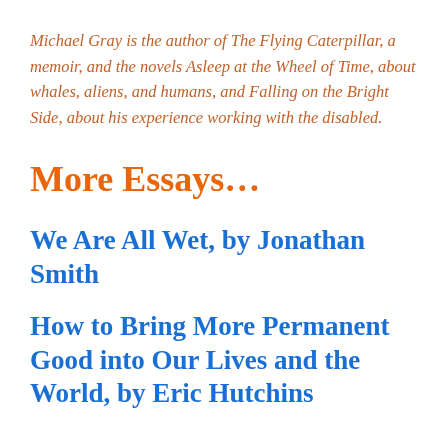Michael Gray is the author of The Flying Caterpillar, a memoir, and the novels Asleep at the Wheel of Time, about whales, aliens, and humans, and Falling on the Bright Side, about his experience working with the disabled.
More Essays…
We Are All Wet, by Jonathan Smith
How to Bring More Permanent Good into Our Lives and the World, by Eric Hutchins